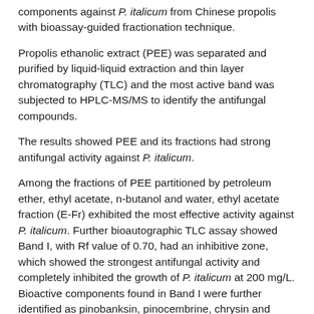components against P. italicum from Chinese propolis with bioassay-guided fractionation technique.
Propolis ethanolic extract (PEE) was separated and purified by liquid-liquid extraction and thin layer chromatography (TLC) and the most active band was subjected to HPLC-MS/MS to identify the antifungal compounds.
The results showed PEE and its fractions had strong antifungal activity against P. italicum.
Among the fractions of PEE partitioned by petroleum ether, ethyl acetate, n-butanol and water, ethyl acetate fraction (E-Fr) exhibited the most effective activity against P. italicum. Further bioautographic TLC assay showed Band I, with Rf value of 0.70, had an inhibitive zone, which showed the strongest antifungal activity and completely inhibited the growth of P. italicum at 200 mg/L. Bioactive components found in Band I were further identified as pinobanksin, pinocembrine, chrysin and galangin.
This study exhibited Chinese propolis and its main flavonoids